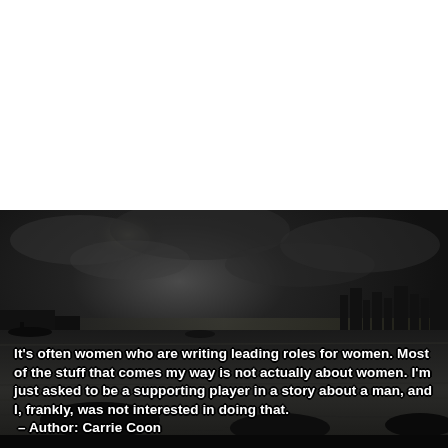[Figure (photo): Black and white photograph of a harbor or waterfront scene at dusk/night with dark cloudy sky, water in the foreground with boats, and a city skyline silhouette in the background. A motivational quote by Carrie Coon is overlaid in white bold text with dark outline.]
It's often women who are writing leading roles for women. Most of the stuff that comes my way is not actually about women. I'm just asked to be a supporting player in a story about a man, and I, frankly, was not interested in doing that.
 – Author: Carrie Coon